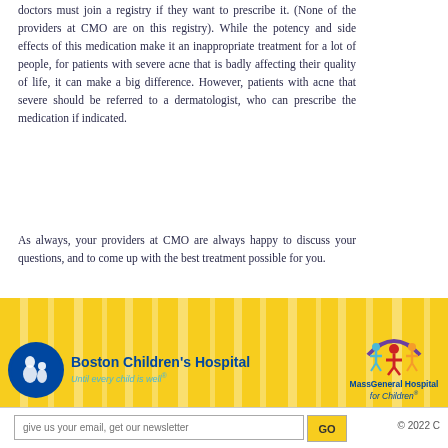doctors must join a registry if they want to prescribe it. (None of the providers at CMO are on this registry). While the potency and side effects of this medication make it an inappropriate treatment for a lot of people, for patients with severe acne that is badly affecting their quality of life, it can make a big difference. However, patients with acne that severe should be referred to a dermatologist, who can prescribe the medication if indicated.
As always, your providers at CMO are always happy to discuss your questions, and to come up with the best treatment possible for you.
[Figure (logo): Boston Children's Hospital logo with circle emblem and tagline 'Until every child is well']
[Figure (logo): MassGeneral Hospital for Children logo with colorful figure emblem]
give us your email, get our newsletter  GO  © 2022 C